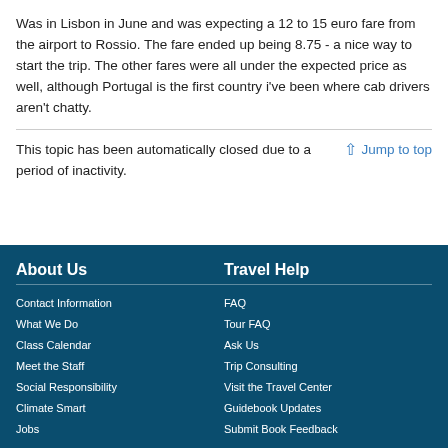Was in Lisbon in June and was expecting a 12 to 15 euro fare from the airport to Rossio. The fare ended up being 8.75 - a nice way to start the trip. The other fares were all under the expected price as well, although Portugal is the first country i've been where cab drivers aren't chatty.
This topic has been automatically closed due to a period of inactivity.
↑ Jump to top
About Us
Contact Information
What We Do
Class Calendar
Meet the Staff
Social Responsibility
Climate Smart
Jobs
Travel Help
FAQ
Tour FAQ
Ask Us
Trip Consulting
Visit the Travel Center
Guidebook Updates
Submit Book Feedback